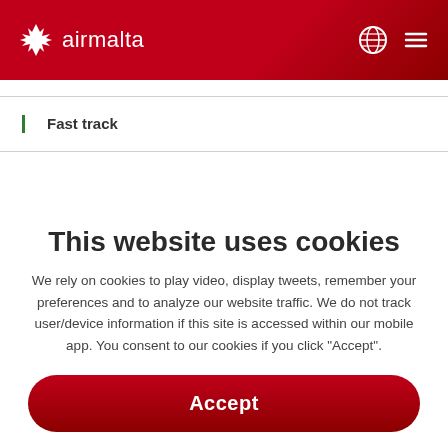Air Malta
Fast track
This website uses cookies
We rely on cookies to play video, display tweets, remember your preferences and to analyze our website traffic. We do not track user/device information if this site is accessed within our mobile app. You consent to our cookies if you click "Accept".
Accept
Cookie policy